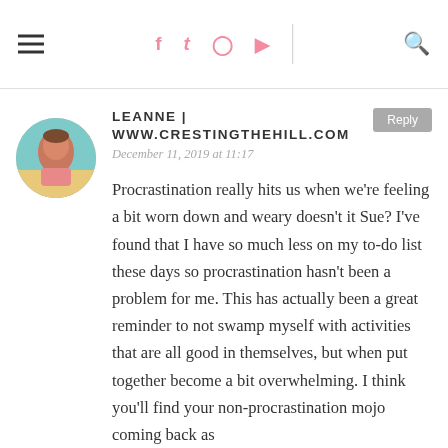≡  f  t  ⓘ  ▶  🔍
LEANNE | WWW.CRESTINGTHEHILL.COM
December 11, 2019 at 11:17
Procrastination really hits us when we're feeling a bit worn down and weary doesn't it Sue? I've found that I have so much less on my to-do list these days so procrastination hasn't been a problem for me. This has actually been a great reminder to not swamp myself with activities that are all good in themselves, but when put together become a bit overwhelming. I think you'll find your non-procrastination mojo coming back as